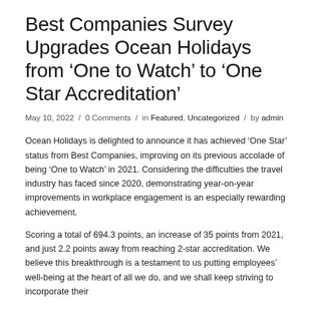Best Companies Survey Upgrades Ocean Holidays from 'One to Watch' to 'One Star Accreditation'
May 10, 2022 / 0 Comments / in Featured, Uncategorized / by admin
Ocean Holidays is delighted to announce it has achieved 'One Star' status from Best Companies, improving on its previous accolade of being 'One to Watch' in 2021. Considering the difficulties the travel industry has faced since 2020, demonstrating year-on-year improvements in workplace engagement is an especially rewarding achievement.
Scoring a total of 694.3 points, an increase of 35 points from 2021, and just 2.2 points away from reaching 2-star accreditation. We believe this breakthrough is a testament to us putting employees' well-being at the heart of all we do, and we shall keep striving to incorporate their